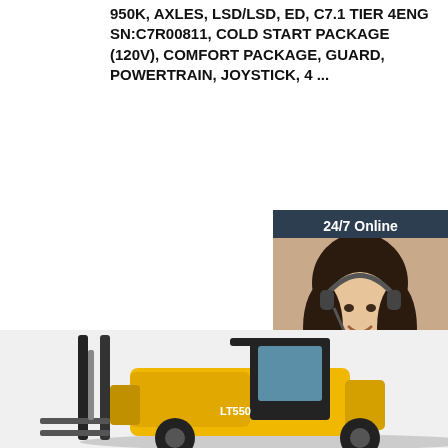950K, AXLES, LSD/LSD, ED, C7.1 TIER 4ENG SN:C7R00811, COLD START PACKAGE (120V), COMFORT PACKAGE, GUARD, POWERTRAIN, JOYSTICK, 4 ...
[Figure (other): Orange 'Get Price' button]
[Figure (other): 24/7 Online chat widget with photo of a woman with headset, 'Click here for free chat!' text and orange QUOTATION button]
[Figure (photo): Yellow LT550 forklift truck photographed from the side in a warehouse/outdoor setting]